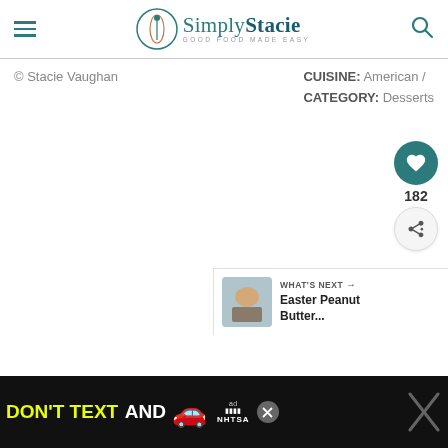Simply Stacie - Good Food Made Easy
© Stacie Vaughan
CUISINE: American / CATEGORY: Desserts
182
WHAT'S NEXT → Easter Peanut Butter...
[Figure (screenshot): Ad banner showing 'DON'T TEXT AND' with car emoji and NHTSA logo on black background]